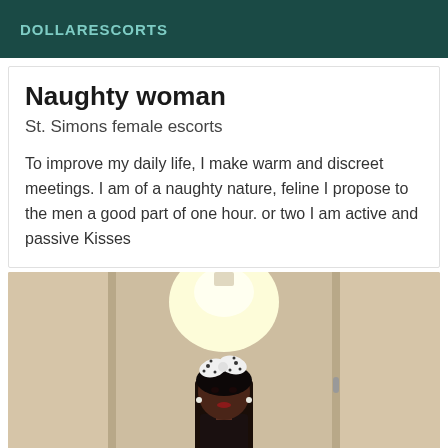DOLLARESCORTS
Naughty woman
St. Simons female escorts
To improve my daily life, I make warm and discreet meetings. I am of a naughty nature, feline I propose to the men a good part of one hour. or two I am active and passive Kisses
[Figure (photo): A woman in a black outfit wearing a white polka-dot hair bow, taking a mirror selfie in a hallway with light-colored doors and a bright overhead light in the background.]